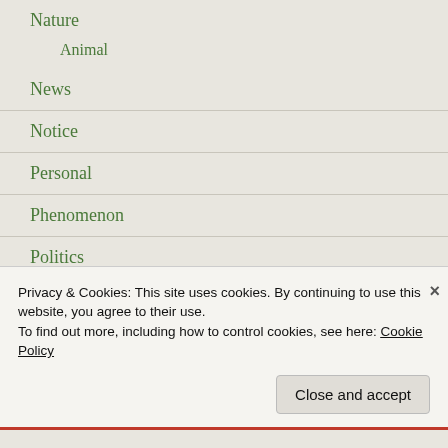Nature
Animal
News
Notice
Personal
Phenomenon
Politics
Election
Puzzles
Ramadhan
Privacy & Cookies: This site uses cookies. By continuing to use this website, you agree to their use.
To find out more, including how to control cookies, see here: Cookie Policy